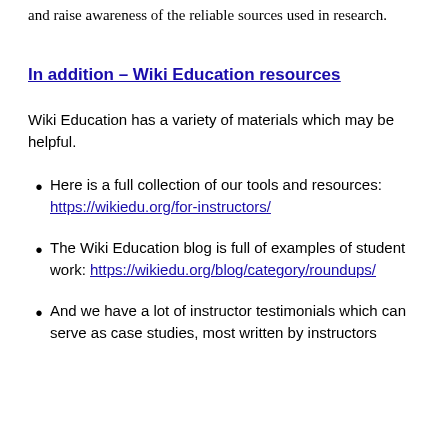and raise awareness of the reliable sources used in research.
In addition – Wiki Education resources
Wiki Education has a variety of materials which may be helpful.
Here is a full collection of our tools and resources: https://wikiedu.org/for-instructors/
The Wiki Education blog is full of examples of student work: https://wikiedu.org/blog/category/roundups/
And we have a lot of instructor testimonials which can serve as case studies, most written by instructors